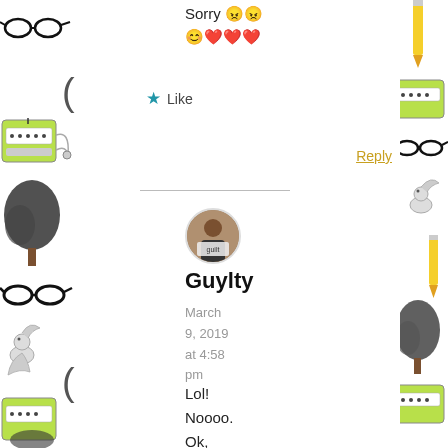Sorry 😠😠 😊❤️❤️❤️
Like
Reply
[Figure (illustration): Decorative background illustrations on left and right sides showing glasses, typewriters, trees, squirrels, and other hand-drawn items in green/black/grey tones]
[Figure (photo): Circular avatar photo of a person (Guylty) holding a sign]
Guylty
March 9, 2019 at 4:58 pm
Lol! Noooo. Ok, here are a few